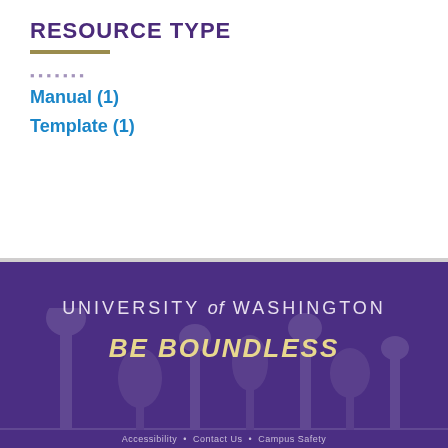RESOURCE TYPE
Manual (1)
Template (1)
[Figure (logo): University of Washington footer with purple background, 'UNIVERSITY of WASHINGTON' text, 'BE BOUNDLESS' italic bold tagline, and decorative arch/campus watermark]
Accessibility   Contact Us   Campus Safety